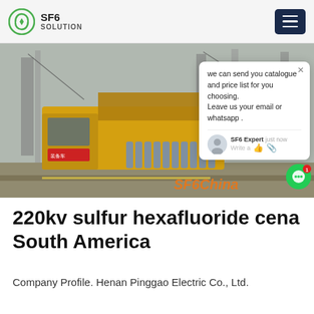SF6 SOLUTION
[Figure (photo): Yellow truck with SF6 gas cylinders at an electrical substation with high-voltage towers in the background. A chat popup overlay reads: 'we can send you catalogue and price list for you choosing. Leave us your email or whatsapp.' with SF6 Expert, just now, Write a... SF6China watermark visible.]
220kv sulfur hexafluoride cena South America
Company Profile. Henan Pinggao Electric Co., Ltd.